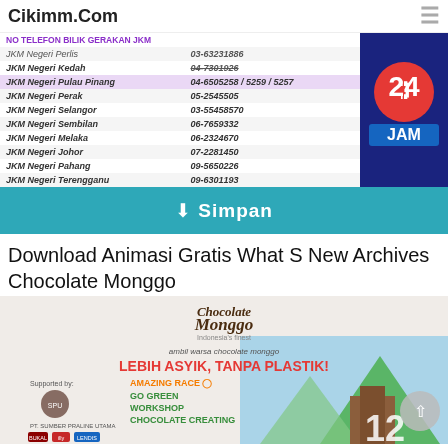NO TELEFON BILIK GERAKAN JKM | Cikimm.Com
|  | NO TELEFON BILIK GERAKAN JKM |
| --- | --- |
| JKM Negeri Perlis | 03-63231886 |
| JKM Negeri Kedah | 04-7301926 |
| JKM Negeri Pulau Pinang | 04-6505258 / 5259 / 5257 |
| JKM Negeri Perak | 05-2545505 |
| JKM Negeri Selangor | 03-55458570 |
| JKM Negeri Sembilan | 06-7659332 |
| JKM Negeri Melaka | 06-2324670 |
| JKM Negeri Johor | 07-2281450 |
| JKM Negeri Pahang | 09-5650226 |
| JKM Negeri Terengganu | 09-6301193 |
[Figure (infographic): 24 JAM badge in dark blue and red]
Simpan
Download Animasi Gratis What S New Archives Chocolate Monggo
[Figure (infographic): Chocolate Monggo promotional banner - LEBIH ASYIK, TANPA PLASTIK! with Amazing Race, Go Green Workshop, Chocolate Creating events. Supported by PT. Sumber Praline Utama, Bukal Abbabasejako, illy, LENDIS logos.]